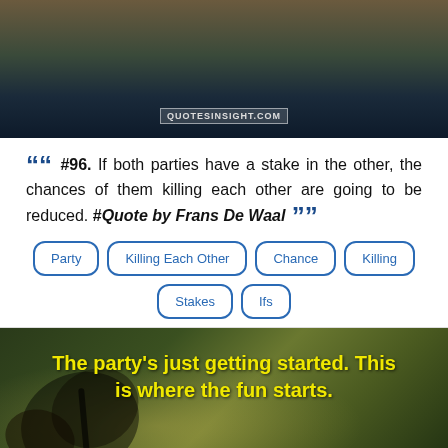[Figure (photo): Dark landscape photo showing rocky terrain and water/sky, with quotesinsight.com watermark]
““ #96. If both parties have a stake in the other, the chances of them killing each other are going to be reduced. #Quote by Frans De Waal ””
Party
Killing Each Other
Chance
Killing
Stakes
Ifs
[Figure (photo): Dark nature photo with butterfly on yellow flower, with overlay text: The party's just getting started. This is where the fun starts. - Kobe Bryant]